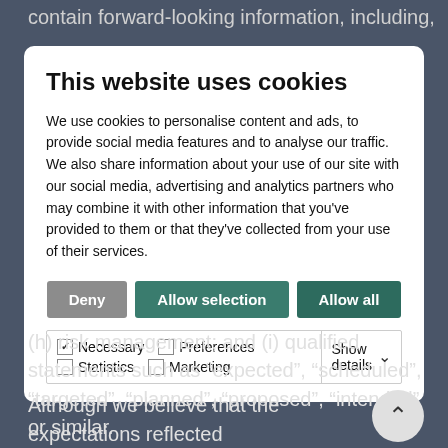contain forward-looking information, including,
[Figure (screenshot): Cookie consent modal dialog with title 'This website uses cookies', descriptive text about cookie usage, three buttons (Deny, Allow selection, Allow all), and checkboxes for Necessary, Preferences, Statistics, Marketing with a Show details dropdown.]
(h) risk management; and (i) qualified statements such as “expected”, “scheduled”, “targeted”, “planned”, “proposed”, “intended” or similar.
Although we believe that the expectations reflected